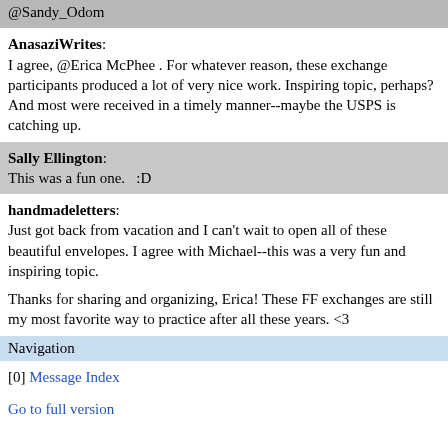@Sandy_Odom
AnasaziWrites: I agree, @Erica McPhee . For whatever reason, these exchange participants produced a lot of very nice work. Inspiring topic, perhaps? And most were received in a timely manner--maybe the USPS is catching up.
Sally Ellington: This was a fun one.   :D
handmadeletters: Just got back from vacation and I can't wait to open all of these beautiful envelopes. I agree with Michael--this was a very fun and inspiring topic.

Thanks for sharing and organizing, Erica! These FF exchanges are still my most favorite way to practice after all these years. <3
Navigation
[0] Message Index
Go to full version